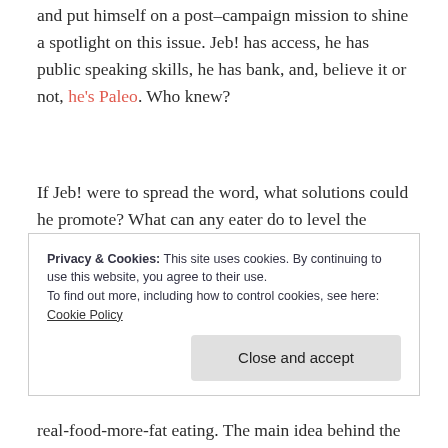and put himself on a post-campaign mission to shine a spotlight on this issue.  Jeb! has access, he has public speaking skills, he has bank, and, believe it or not, he's Paleo. Who knew?
If Jeb! were to spread the word, what solutions could he promote?  What can any eater do to level the playing field a bit – to have a shot at vibrant health minus the prohibitive price tag of high-maintenance
Privacy & Cookies: This site uses cookies. By continuing to use this website, you agree to their use.
To find out more, including how to control cookies, see here: Cookie Policy
real-food-more-fat eating. The main idea behind the